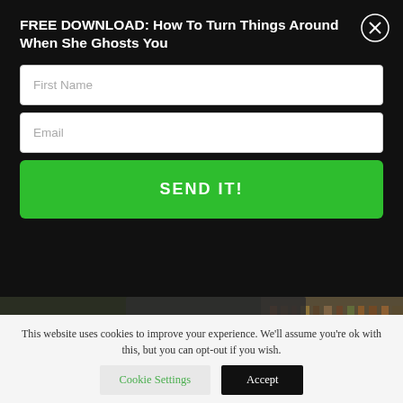FREE DOWNLOAD: How To Turn Things Around When She Ghosts You
[Figure (screenshot): Form fields: First Name input, Email input, and a green SEND IT! button on black background]
[Figure (photo): A person in a suit sitting at a table reading an open book with a coffee cup in foreground, blurred bookshelf in background]
This website uses cookies to improve your experience. We'll assume you're ok with this, but you can opt-out if you wish.
Cookie Settings  Accept